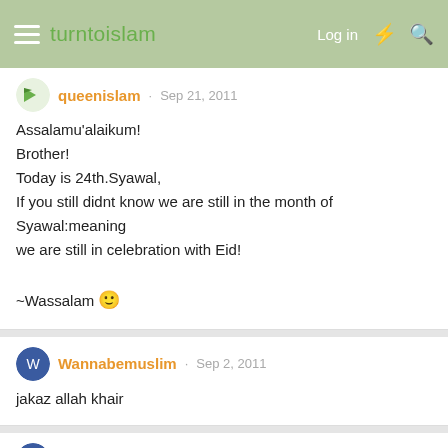turntoislam — Log in
queenislam · Sep 21, 2011
Assalamu'alaikum!
Brother!
Today is 24th.Syawal,
If you still didnt know we are still in the month of Syawal:meaning
we are still in celebration with Eid!

~Wassalam 🙂
Wannabemuslim · Sep 2, 2011
jakaz allah khair
Wannabemuslim · Jul 4, 2011
hello. how are you